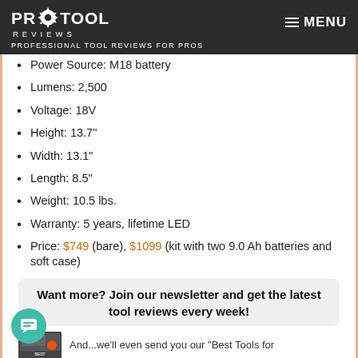PRO TOOL REVIEWS — PROFESSIONAL TOOL REVIEWS FOR PROS
Power Source: M18 battery
Lumens: 2,500
Voltage: 18V
Height: 13.7"
Width: 13.1"
Length: 8.5"
Weight: 10.5 lbs.
Warranty: 5 years, lifetime LED
Price: $749 (bare), $1099 (kit with two 9.0 Ah batteries and soft case)
Want more? Join our newsletter and get the latest tool reviews every week!
And...we'll even send you our "Best Tools for